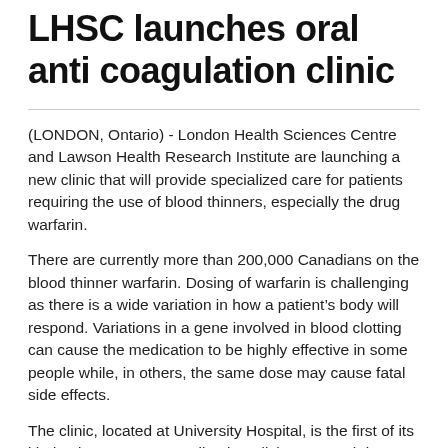LHSC launches oral anti coagulation clinic
(LONDON, Ontario) - London Health Sciences Centre and Lawson Health Research Institute are launching a new clinic that will provide specialized care for patients requiring the use of blood thinners, especially the drug warfarin.
There are currently more than 200,000 Canadians on the blood thinner warfarin. Dosing of warfarin is challenging as there is a wide variation in how a patient's body will respond. Variations in a gene involved in blood clotting can cause the medication to be highly effective in some people while, in others, the same dose may cause fatal side effects.
The clinic, located at University Hospital, is the first of its kind to integrate personalized medicine research into patient care, through the use of genotyping technologies, which matches required dosages of the blood thinner warfarin to an individual's genetic traits. By understanding an individual's...